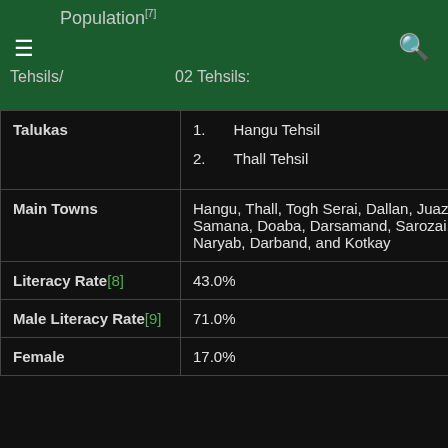Population  ☰  🔍  Tehsils/  02 Tehsils:
| Category | Value |
| --- | --- |
| Tehsils/ Talukas | 02 Tehsils:
1. Hangu Tehsil
2. Thall Tehsil |
| Main Towns | Hangu, Thall, Togh Serai, Dallan, Juazara, Samana, Doaba, Darsamand, Sarozai, Naryab, Darband, and Kotkay |
| Literacy Rate[8] | 43.0% |
| Male Literacy Rate[9] | 71.0% |
| Female | 17.0% |